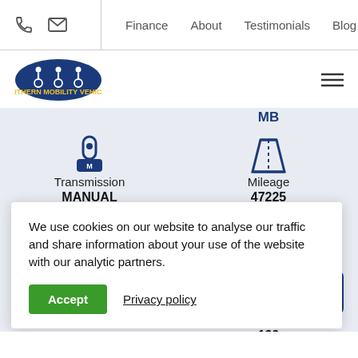Phone | Email | Finance | About | Testimonials | Blog
[Figure (logo): Southern Mobility Vehicles logo — oval dark blue background with wheelchair user icons and SMV letters]
Transmission
MANUAL
Mileage
47225
Engine Size
1560
CO2
139
We use cookies on our website to analyse our traffic and share information about your use of the website with our analytic partners.
Accept
Privacy policy